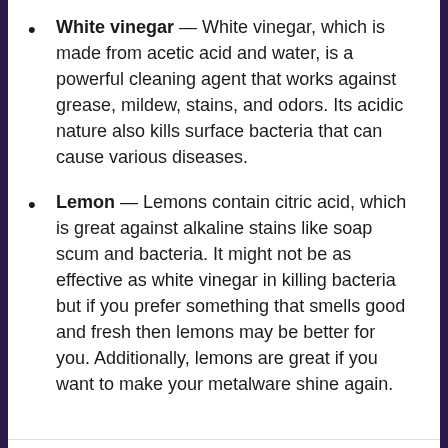White vinegar — White vinegar, which is made from acetic acid and water, is a powerful cleaning agent that works against grease, mildew, stains, and odors. Its acidic nature also kills surface bacteria that can cause various diseases.
Lemon — Lemons contain citric acid, which is great against alkaline stains like soap scum and bacteria. It might not be as effective as white vinegar in killing bacteria but if you prefer something that smells good and fresh then lemons may be better for you. Additionally, lemons are great if you want to make your metalware shine again.
Buy Book The Organically Clean Home: